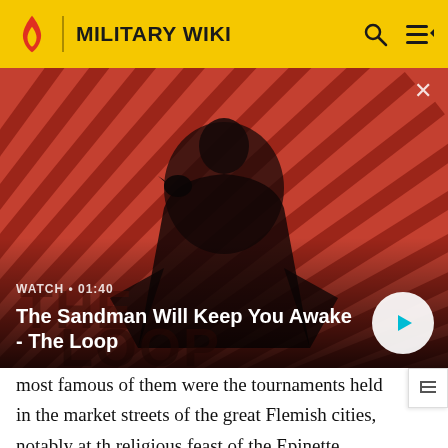MILITARY WIKI
[Figure (screenshot): Video thumbnail for 'The Sandman Will Keep You Awake - The Loop' showing a dark-caped figure with a raven on shoulder against red and black diagonal striped background. Watch duration shown as 01:40 with a play button.]
WATCH • 01:40
The Sandman Will Keep You Awake - The Loop
most famous of them were the tournaments held in the market streets of the great Flemish cities, notably at the religious feast of the Epinette, which is mentioned at Lille as early as 1283. They were not exclusively urban, and attracted neighbouring country knights, but their location